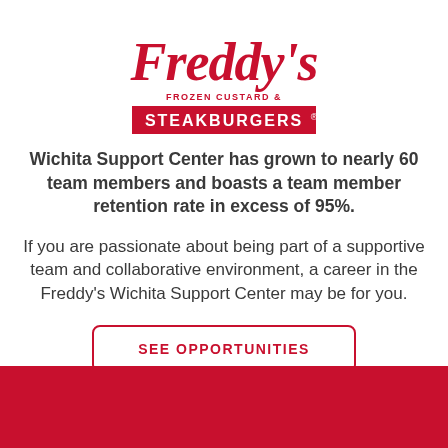[Figure (logo): Freddy's Frozen Custard & Steakburgers logo in red script]
Wichita Support Center has grown to nearly 60 team members and boasts a team member retention rate in excess of 95%.
If you are passionate about being part of a supportive team and collaborative environment, a career in the Freddy's Wichita Support Center may be for you.
SEE OPPORTUNITIES